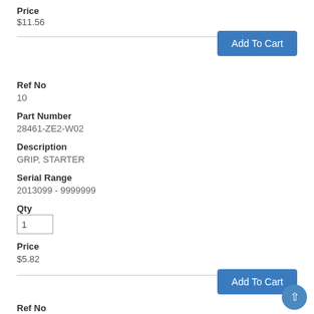Price
$11.56
Add To Cart
Ref No
10
Part Number
28461-ZE2-W02
Description
GRIP, STARTER
Serial Range
2013099 - 9999999
Qty
Price
$5.82
Add To Cart
Ref No